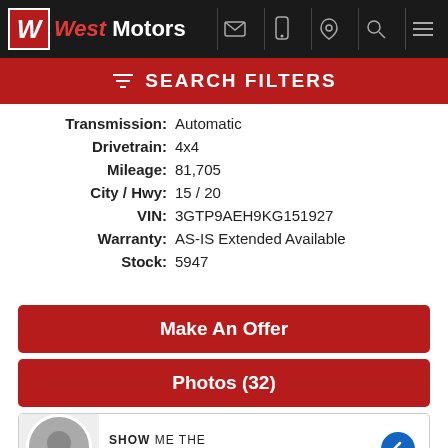West Motors
SEARCH FILTERS
| Field | Value |
| --- | --- |
| Transmission: | Automatic |
| Drivetrain: | 4x4 |
| Mileage: | 81,705 |
| City / Hwy: | 15 / 20 |
| VIN: | 3GTP9AEH9KG151927 |
| Warranty: | AS-IS Extended Available |
| Stock: | 5947 |
Make An Offer
Photos (32)
SHOW ME THE | TEXT US! WE ARE HERE TO HELP!